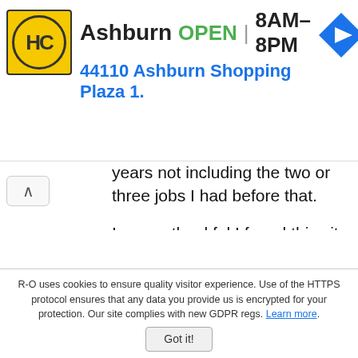[Figure (screenshot): Ad banner for Harriet Carter at Ashburn location showing yellow HC logo, store name Ashburn, OPEN status, hours 8AM-8PM, address 44110 Ashburn Shopping Plaza 1., and blue navigation arrow icon]
years not including the two or three jobs I had before that.
I am so thankful I found this site because I was scared that I was sleeping so much that I wasn't going to wake up.
I'm 59 I just made an appointment with my doctor to find out what is wrong with me because I am so tired.
I'm more tired than I was when I was working 12 hours a day. I have been walking I have been on my treadmill doing exercise but at night I sleep so hard and I just didn't know why but thanks to all of you guys it's normal
R-O uses cookies to ensure quality visitor experience. Use of the HTTPS protocol ensures that any data you provide us is encrypted for your protection. Our site complies with new GDPR regs. Learn more. Got it!